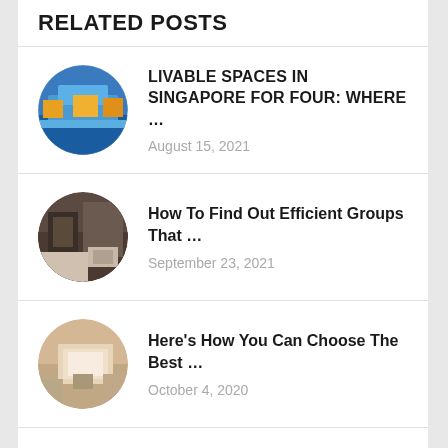RELATED POSTS
LIVABLE SPACES IN SINGAPORE FOR FOUR: WHERE ... August 15, 2021
How To Find Out Efficient Groups That ... September 23, 2021
Here's How You Can Choose The Best ... October 4, 2020